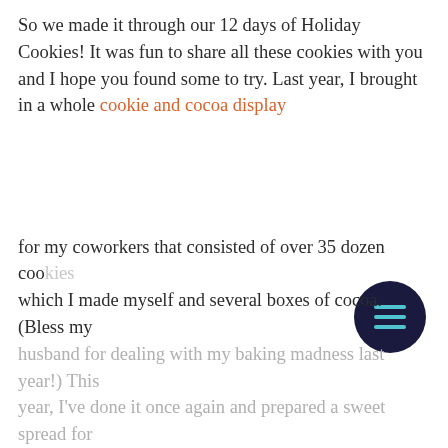So we made it through our 12 days of Holiday Cookies! It was fun to share all these cookies with you and I hope you found some to try. Last year, I brought in a whole cookie and cocoa display for my coworkers that consisted of over 35 dozen cookies which I made myself and several boxes of cocoa. (Bless my husband for dealing with my baking madness last year!) This year, I've done it once again and prepared a sweet spread for
[Figure (other): Dark navy circular hamburger/menu button icon with three teal horizontal lines]